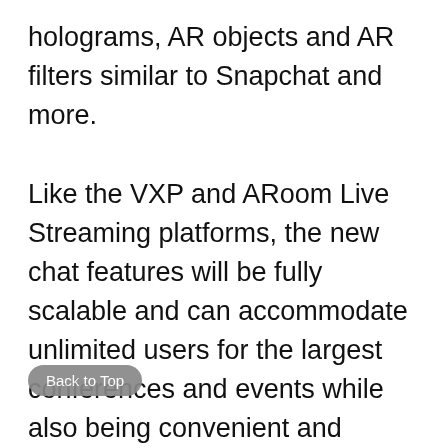holograms, AR objects and AR filters similar to Snapchat and more.

Like the VXP and ARoom Live Streaming platforms, the new chat features will be fully scalable and can accommodate unlimited users for the largest conferences and events while also being convenient and accessible for direct messaging. Across all events and platforms, the chat functionality will be secure and fully GDPR compliant with privacy requirements. The features will also be available as a standalone
Back to Top